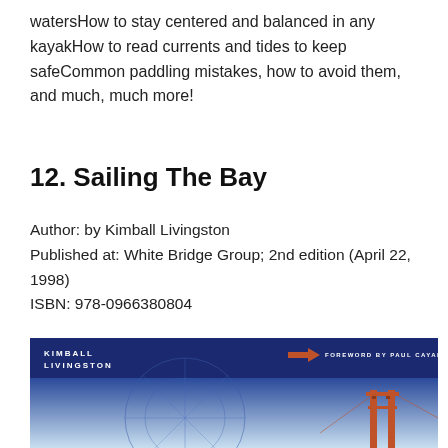watersHow to stay centered and balanced in any kayakHow to read currents and tides to keep safeCommon paddling mistakes, how to avoid them, and much, much more!
12. Sailing The Bay
Author: by Kimball Livingston
Published at: White Bridge Group; 2nd edition (April 22, 1998)
ISBN: 978-0966380804
[Figure (photo): Book cover of 'Sailing The Bay' by Kimball Livingston, showing a blue background with a stylized compass rose outline, the Golden Gate Bridge tower silhouette, and text reading 'FOREWORD BY PAUL CAYARD' and 'KIMBALL LIVINGSTON' at top left.]